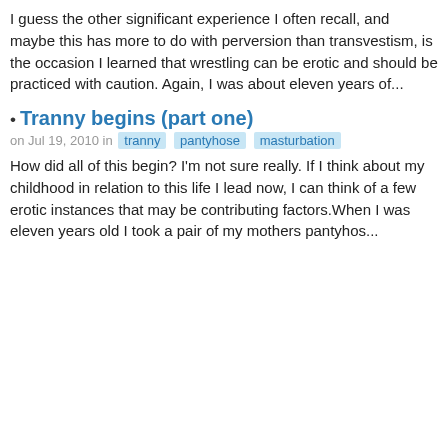I guess the other significant experience I often recall, and maybe this has more to do with perversion than transvestism, is the occasion I learned that wrestling can be erotic and should be practiced with caution. Again, I was about eleven years of...
Tranny begins (part one)
on Jul 19, 2010 in  tranny  pantyhose  masturbation
How did all of this begin? I'm not sure really. If I think about my childhood in relation to this life I lead now, I can think of a few erotic instances that may be contributing factors.When I was eleven years old I took a pair of my mothers pantyhos...